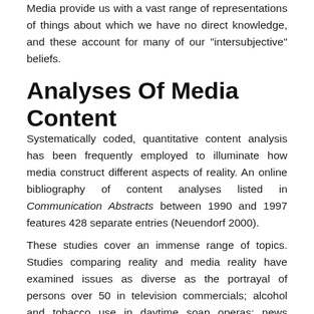Media provide us with a vast range of representations of things about which we have no direct knowledge, and these account for many of our "intersubjective" beliefs.
Analyses Of Media Content
Systematically coded, quantitative content analysis has been frequently employed to illuminate how media construct different aspects of reality. An online bibliography of content analyses listed in Communication Abstracts between 1990 and 1997 features 428 separate entries (Neuendorf 2000).
These studies cover an immense range of topics. Studies comparing reality and media reality have examined issues as diverse as the portrayal of persons over 50 in television commercials; alcohol and tobacco use in daytime soap operas; news coverage of infectious